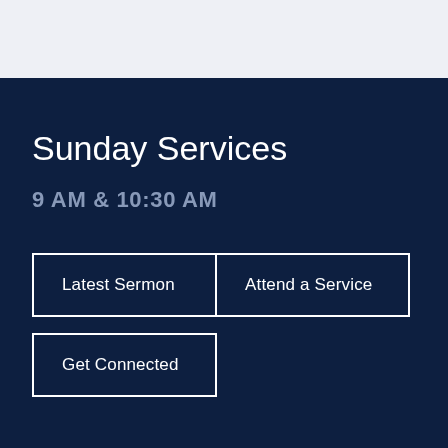Sunday Services
9 AM & 10:30 AM
Latest Sermon
Attend a Service
Get Connected